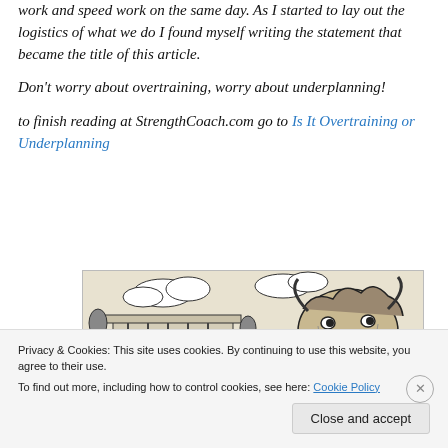work and speed work on the same day. As I started to lay out the logistics of what we do I found myself writing the statement that became the title of this article.
Don't worry about overtraining, worry about underplanning!
to finish reading at StrengthCoach.com go to Is It Overtraining or Underplanning
[Figure (illustration): A black and white sketch illustration showing a building/temple structure on the left and a large bull or bison head on the right, with clouds and trees in the background.]
Privacy & Cookies: This site uses cookies. By continuing to use this website, you agree to their use.
To find out more, including how to control cookies, see here: Cookie Policy
Close and accept